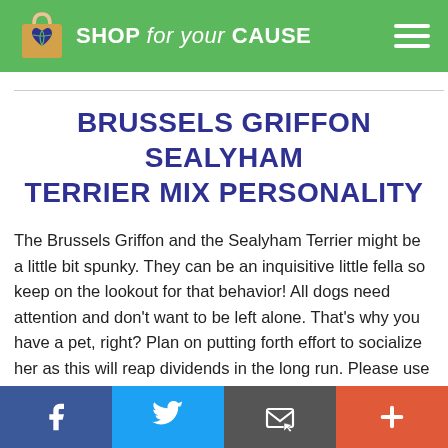SHOP for your CAUSE
BRUSSELS GRIFFON SEALYHAM TERRIER MIX PERSONALITY
The Brussels Griffon and the Sealyham Terrier might be a little bit spunky. They can be an inquisitive little fella so keep on the lookout for that behavior! All dogs need attention and don't want to be left alone. That's why you have a pet, right? Plan on putting forth effort to socialize her as this will reap dividends in the long run. Please use always use positive…
f  [Twitter bird]  [Email icon]  +